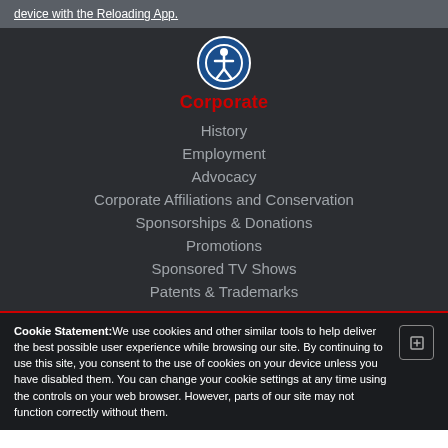device with the Reloading App.
[Figure (logo): Accessibility icon (person in circle) above the word Corporate in red]
History
Employment
Advocacy
Corporate Affiliations and Conservation
Sponsorships & Donations
Promotions
Sponsored TV Shows
Patents & Trademarks
Cookie Statement:We use cookies and other similar tools to help deliver the best possible user experience while browsing our site. By continuing to use this site, you consent to the use of cookies on your device unless you have disabled them. You can change your cookie settings at any time using the controls on your web browser. However, parts of our site may not function correctly without them.